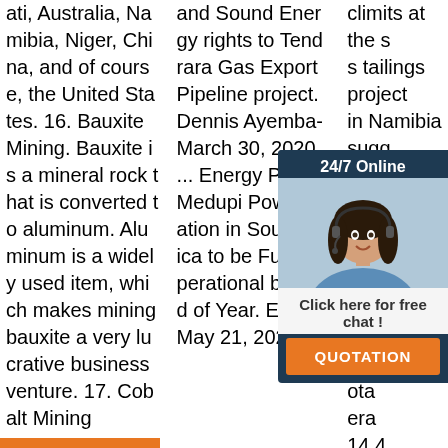ati, Australia, Namibia, Niger, China, and of course, the United States. 16. Bauxite Mining. Bauxite is a mineral rock that is converted to aluminum. Aluminum is a widely used item, which makes mining bauxite a very lucrative business venture. 17. Cobalt Mining
and Sound Energy rights to Tendra Gas Export Pipeline project. Dennis Ayemba- March 30, 2020. ... Energy Picks. Medupi Power Station in South Africa to be Fully Operational by End of Year. Energy May 21, 2021.
[Figure (other): Get Price orange button]
climits at the s tailings project in Namibia suggested significant lithi ated rer s emed ate, DA ota era 14.4 million tonnes at 0.37% lithium superoxide and 17.1 million tonnes at 0.05% tin
[Figure (other): 24/7 Online chat popup with a customer service woman and QUOTATION button]